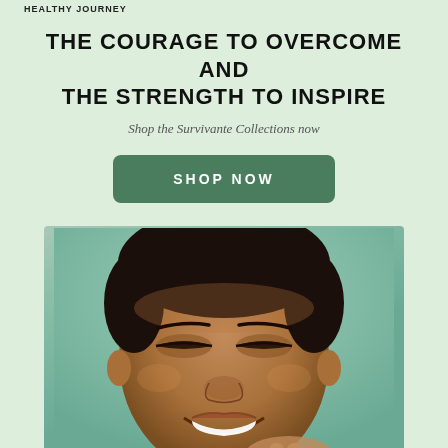HEALTHY JOURNEY
THE COURAGE TO OVERCOME AND THE STRENGTH TO INSPIRE
Shop the Survivante Collections now
SHOP NOW
[Figure (photo): Close-up portrait of a smiling Black woman with short hair, eyes nearly closed in a joyful expression, against a mint/sage green background]